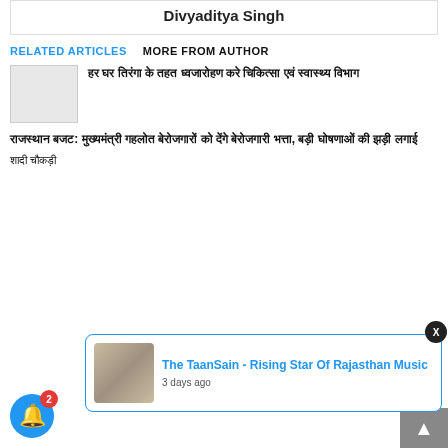Divyaditya Singh
RELATED ARTICLES   MORE FROM AUTHOR
[Figure (photo): Thumbnail image for first related article]
हर घर तिरंगा के तहत ध्वजारोहण करे चिकित्सा एवं स्वास्थ्य विभाग
राजस्थान बजट: मुख्यमंत्री गहलोत बेरोजगारों को देंगे बेरोजगारी भत्ता, बड़ी घोषणाओं की झड़ी लगाई
[Figure (photo): Notification popup showing article about The TaanSain]
The TaanSain - Rising Star Of Rajasthan Music
3 days ago
शादी चौकड़ी